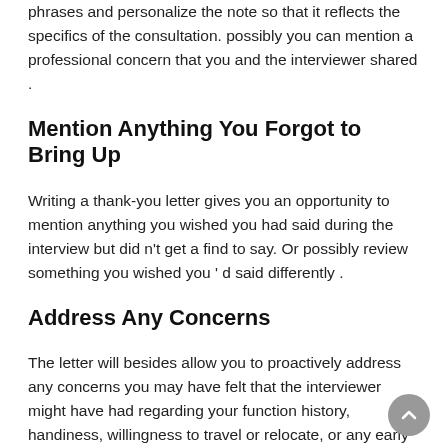phrases and personalize the note so that it reflects the specifics of the consultation. possibly you can mention a professional concern that you and the interviewer shared .
Mention Anything You Forgot to Bring Up
Writing a thank-you letter gives you an opportunity to mention anything you wished you had said during the interview but did n't get a find to say. Or possibly review something you wished you ' d said differently .
Address Any Concerns
The letter will besides allow you to proactively address any concerns you may have felt that the interviewer might have had regarding your function history, handiness, willingness to travel or relocate, or any early issues .